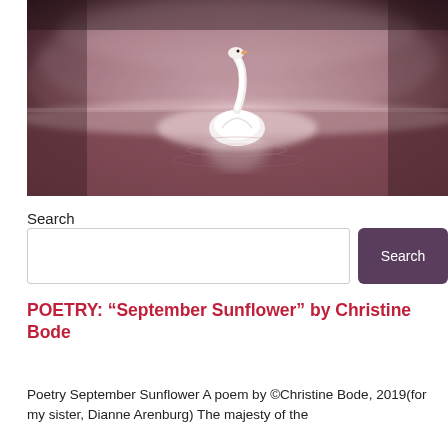[Figure (photo): A white swan gliding on a misty pink-toned lake, photographed in atmospheric low-light conditions with fog and reflections on the water surface.]
Search
Search (input box and button)
POETRY: “September Sunflower” by Christine Bode
Poetry September Sunflower A poem by ©Christine Bode, 2019(for my sister, Dianne Arenburg) The majesty of the